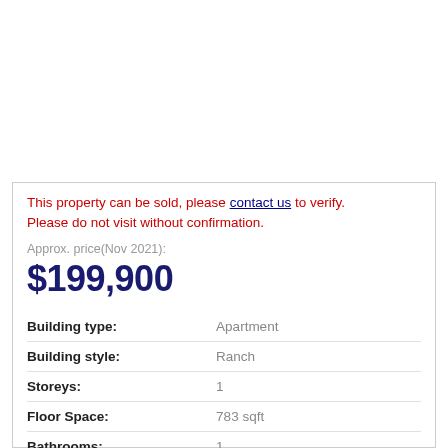This property can be sold, please contact us to verify. Please do not visit without confirmation.
Approx. price(Nov 2021):
$199,900
|  |  |
| --- | --- |
| Building type: | Apartment |
| Building style: | Ranch |
| Storeys: | 1 |
| Floor Space: | 783 sqft |
| Bathrooms: | 1 |
| Bedrooms: | 2 |
| Parking Type: | Stall |